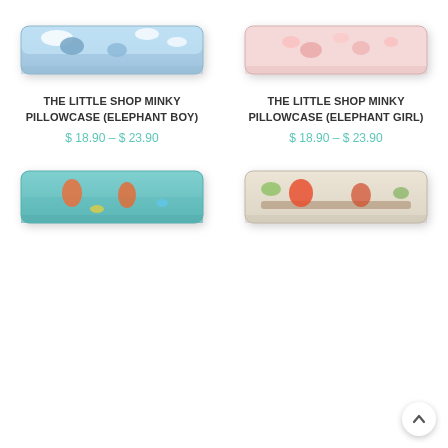[Figure (photo): Pillow with elephant boy pattern on blue sky background]
[Figure (photo): Pillow with elephant girl pattern on pink background]
THE LITTLE SHOP MINKY PILLOWCASE (ELEPHANT BOY)
$ 18.90 – $ 23.90
THE LITTLE SHOP MINKY PILLOWCASE (ELEPHANT GIRL)
$ 18.90 – $ 23.90
[Figure (photo): Pillow with mermaid pattern on teal/seafoam background]
[Figure (photo): Pillow with owl pattern on light background]